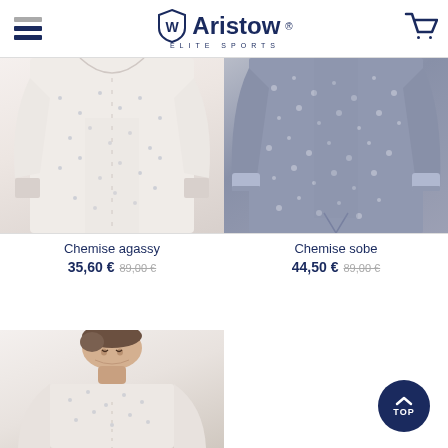Aristow Élite Sports — navigation header with hamburger menu and cart icon
[Figure (photo): Product photo of Chemise agassy — white shirt with small pattern, close-up of torso]
Chemise agassy
35,60 € 89,00 €
[Figure (photo): Product photo of Chemise sobe — blue floral print shirt, torso and arms visible]
Chemise sobe
44,50 € 89,00 €
[Figure (photo): Product photo showing man wearing white patterned shirt, head and upper torso visible]